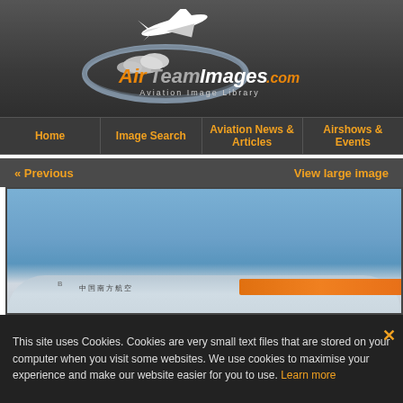[Figure (logo): AirTeamImages.com Aviation Image Library logo with airplane graphic on dark grey background]
Home | Image Search | Aviation News & Articles | Airshows & Events
« Previous    View large image
[Figure (photo): Partial view of a China Southern Airlines aircraft against a blue sky, showing the front fuselage with Chinese characters and orange tail livery]
This site uses Cookies. Cookies are very small text files that are stored on your computer when you visit some websites. We use cookies to maximise your experience and make our website easier for you to use. Learn more